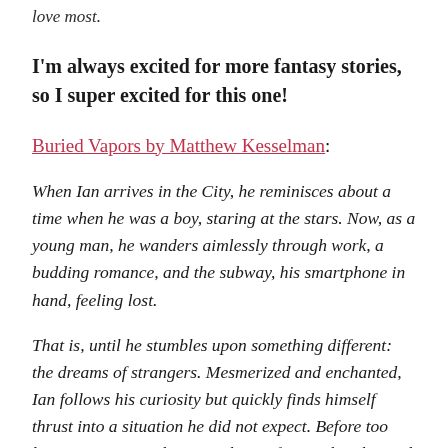love most.
I'm always excited for more fantasy stories, so I super excited for this one!
Buried Vapors by Matthew Kesselman:
When Ian arrives in the City, he reminisces about a time when he was a boy, staring at the stars. Now, as a young man, he wanders aimlessly through work, a budding romance, and the subway, his smartphone in hand, feeling lost.
That is, until he stumbles upon something different: the dreams of strangers. Mesmerized and enchanted, Ian follows his curiosity but quickly finds himself thrust into a situation he did not expect. Before too long, an ever-accelerating chaos of surreal nights and stark days surround him. Soon there is only one option: he must find answers before his life